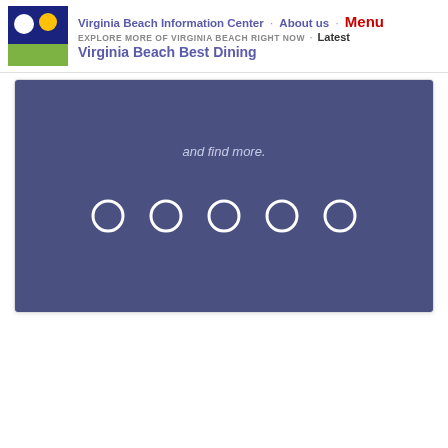Virginia Beach Information Center · About us · Menu
EXPLORE MORE OF VIRGINIA BEACH RIGHT NOW · Latest
Virginia Beach Best Dining
[Figure (screenshot): Screenshot of Virginia Beach Best Dining website showing a blue-purple card with white text 'and find more.' and five hollow circle radio-button style icons in a row below it, on a white page background.]